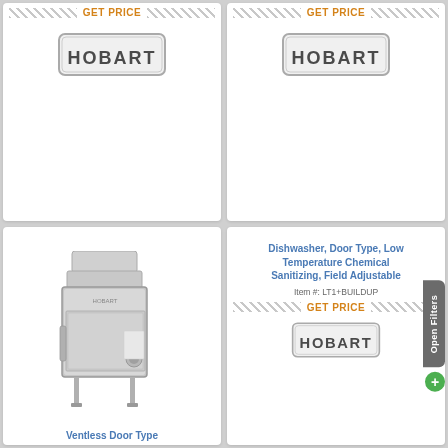[Figure (logo): Hobart brand logo in top-left product card with GET PRICE hatched bar]
[Figure (logo): Hobart brand logo in top-right product card with GET PRICE hatched bar]
[Figure (photo): Photo of a Hobart ventless door type dishwasher machine, stainless steel, tall upright unit]
Ventless Door Type
Dishwasher, Door Type, Low Temperature Chemical Sanitizing, Field Adjustable
Item #: LT1+BUILDUP
GET PRICE
[Figure (logo): Hobart brand logo in bottom-right product card]